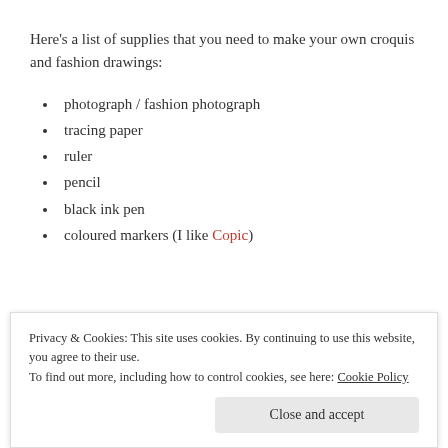Here's a list of supplies that you need to make your own croquis and fashion drawings:
photograph  / fashion photograph
tracing paper
ruler
pencil
black ink pen
coloured markers (I like Copic)
[Figure (illustration): A hand-drawn fashion croquis sketch on beige/cream paper showing a figure outline with construction lines]
Privacy & Cookies: This site uses cookies. By continuing to use this website, you agree to their use.
To find out more, including how to control cookies, see here: Cookie Policy